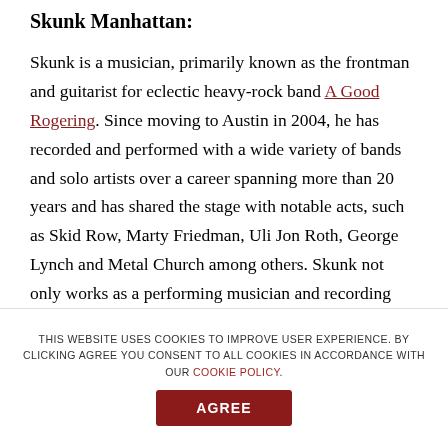Skunk Manhattan:
Skunk is a musician, primarily known as the frontman and guitarist for eclectic heavy-rock band A Good Rogering. Since moving to Austin in 2004, he has recorded and performed with a wide variety of bands and solo artists over a career spanning more than 20 years and has shared the stage with notable acts, such as Skid Row, Marty Friedman, Uli Jon Roth, George Lynch and Metal Church among others. Skunk not only works as a performing musician and recording artist, but also as a producer and music teacher. With two decades of insight
THIS WEBSITE USES COOKIES TO IMPROVE USER EXPERIENCE. BY CLICKING AGREE YOU CONSENT TO ALL COOKIES IN ACCORDANCE WITH OUR COOKIE POLICY.